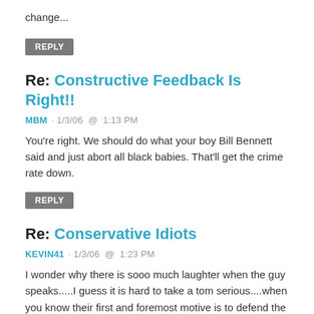change...
REPLY
Re: Constructive Feedback Is Right!!
MBM · 1/3/06 @ 1:13 PM
You're right. We should do what your boy Bill Bennett said and just abort all black babies. That'll get the crime rate down.
REPLY
Re: Conservative Idiots
KEVIN41 · 1/3/06 @ 1:23 PM
I wonder why there is sooo much laughter when the guy speaks.....I guess it is hard to take a tom serious....when you know their first and foremost motive is to defend the stats quo and their white masters....I thought the term conservative idiot applied here.......... My dad's barbershop ...byLarry Elder and personal responsibility ------------------------------------------------------------------------------------------------------------------------- Posted: December 29, 2005 1:00 a.m. Eastern Editor's note: The following column...
REPLY